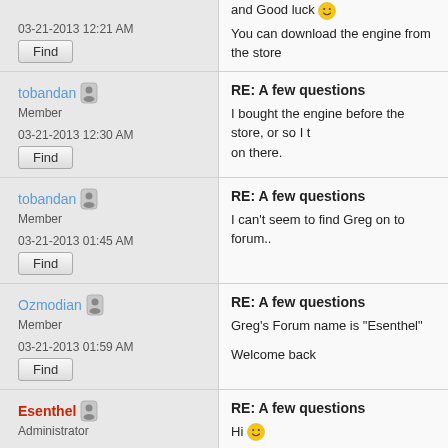and Good luck 🙂
You can download the engine from the store
03-21-2013 12:21 AM
RE: A few questions
I bought the engine before the store, or so I t... on there.
tobandan Member 03-21-2013 12:30 AM
RE: A few questions
I can't seem to find Greg on to forum..
tobandan Member 03-21-2013 01:45 AM
RE: A few questions
Greg's Forum name is "Esenthel"
Welcome back
Ozmodian Member 03-21-2013 01:59 AM
RE: A few questions
Hi 🙂
Please login to store with your email address
Esenthel Administrator